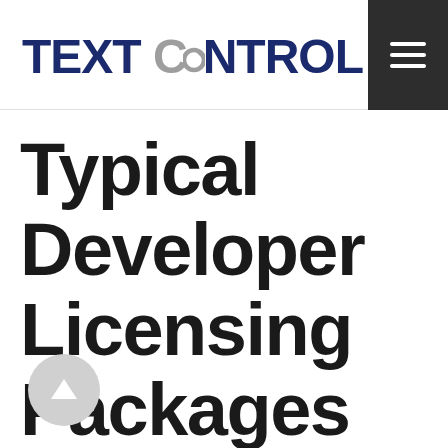TEXT CONTROL
Typical Developer Licensing Packages
[Figure (illustration): Circular scroll-to-top button with upward arrow icon]